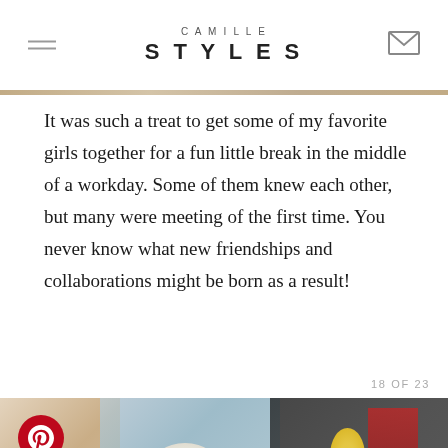CAMILLE STYLES
It was such a treat to get some of my favorite girls together for a fun little break in the middle of a workday. Some of them knew each other, but many were meeting of the first time. You never know what new friendships and collaborations might be born as a result!
18 OF 23
[Figure (photo): Women seated at a decorated dining table with food, flowers, drinks including yellow cocktails, plates and settings. A woman in black on the right, others partially visible. Lower portion shows another table scene.]